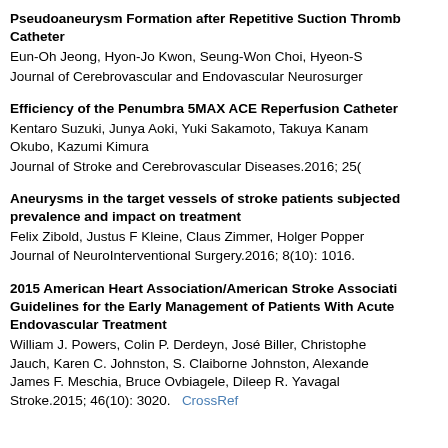Pseudoaneurysm Formation after Repetitive Suction Thrombectomy Using a Large-Bore Aspiration Catheter
Eun-Oh Jeong, Hyon-Jo Kwon, Seung-Won Choi, Hyeon-S...
Journal of Cerebrovascular and Endovascular Neurosurgery...
Efficiency of the Penumbra 5MAX ACE Reperfusion Catheter...
Kentaro Suzuki, Junya Aoki, Yuki Sakamoto, Takuya Kanam... Okubo, Kazumi Kimura
Journal of Stroke and Cerebrovascular Diseases.2016; 25(...
Aneurysms in the target vessels of stroke patients subjected... prevalence and impact on treatment
Felix Zibold, Justus F Kleine, Claus Zimmer, Holger Popper...
Journal of NeuroInterventional Surgery.2016; 8(10): 1016.
2015 American Heart Association/American Stroke Association... Guidelines for the Early Management of Patients With Acute... Endovascular Treatment
William J. Powers, Colin P. Derdeyn, José Biller, Christophe... Jauch, Karen C. Johnston, S. Claiborne Johnston, Alexande... James F. Meschia, Bruce Ovbiagele, Dileep R. Yavagal
Stroke.2015; 46(10): 3020. CrossRef